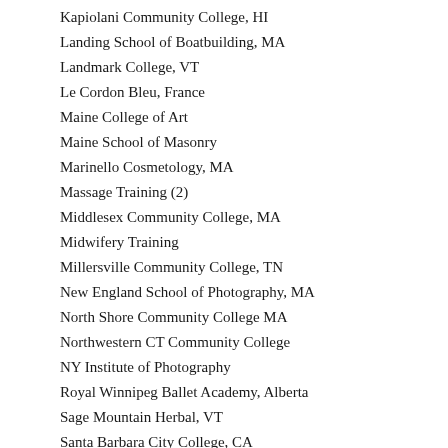Kapiolani Community College, HI
Landing School of Boatbuilding, MA
Landmark College, VT
Le Cordon Bleu, France
Maine College of Art
Maine School of Masonry
Marinello Cosmetology, MA
Massage Training (2)
Middlesex Community College, MA
Midwifery Training
Millersville Community College, TN
New England School of Photography, MA
North Shore Community College MA
Northwestern CT Community College
NY Institute of Photography
Royal Winnipeg Ballet Academy, Alberta
Sage Mountain Herbal, VT
Santa Barbara City College, CA